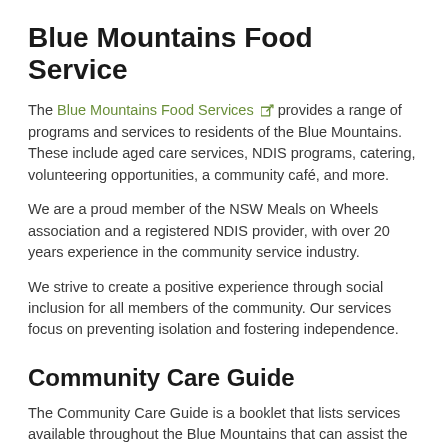Blue Mountains Food Service
The Blue Mountains Food Services provides a range of programs and services to residents of the Blue Mountains. These include aged care services, NDIS programs, catering, volunteering opportunities, a community café, and more.
We are a proud member of the NSW Meals on Wheels association and a registered NDIS provider, with over 20 years experience in the community service industry.
We strive to create a positive experience through social inclusion for all members of the community. Our services focus on preventing isolation and fostering independence.
Community Care Guide
The Community Care Guide is a booklet that lists services available throughout the Blue Mountains that can assist the frail aged, people with disabilities and their carers to live more independently, including Meals on Wheels, respite care and home help.